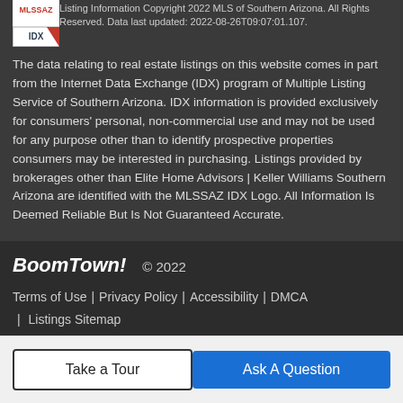[Figure (logo): MLSSAZ IDX logo — white box with red MLSSAZ text and IDX text with red diagonal stripe]
Listing Information Copyright 2022 MLS of Southern Arizona. All Rights Reserved. Data last updated: 2022-08-26T09:07:01.107.
The data relating to real estate listings on this website comes in part from the Internet Data Exchange (IDX) program of Multiple Listing Service of Southern Arizona. IDX information is provided exclusively for consumers' personal, non-commercial use and may not be used for any purpose other than to identify prospective properties consumers may be interested in purchasing. Listings provided by brokerages other than Elite Home Advisors | Keller Williams Southern Arizona are identified with the MLSSAZ IDX Logo. All Information Is Deemed Reliable But Is Not Guaranteed Accurate.
BoomTown!  © 2022
Terms of Use | Privacy Policy | Accessibility | DMCA | Listings Sitemap
Take a Tour
Ask A Question